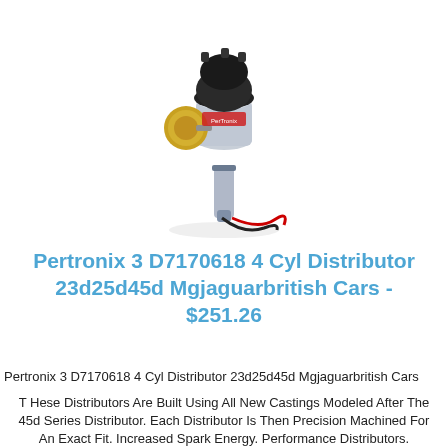[Figure (photo): Pertronix electronic distributor with black cap, gold vacuum advance canister, silver body, and red/black wires hanging from the bottom]
Pertronix 3 D7170618 4 Cyl Distributor 23d25d45d Mgjaguarbritish Cars - $251.26
Pertronix 3 D7170618 4 Cyl Distributor 23d25d45d Mgjaguarbritish Cars
T Hese Distributors Are Built Using All New Castings Modeled After The 45d Series Distributor. Each Distributor Is Then Precision Machined For An Exact Fit. Increased Spark Energy. Performance Distributors.